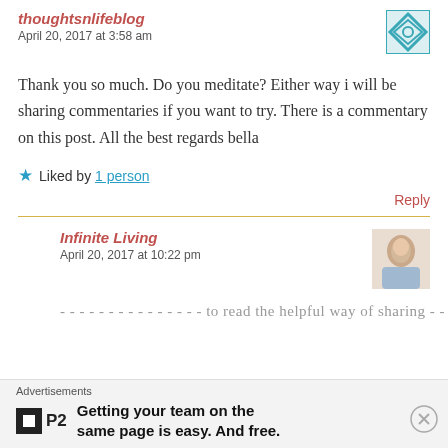thoughtsnlifeblog
April 20, 2017 at 3:58 am
Thank you so much. Do you meditate? Either way i will be sharing commentaries if you want to try. There is a commentary on this post. All the best regards bella
Liked by 1 person
Reply
Infinite Living
April 20, 2017 at 10:22 pm
...posts to read the helpful way of sharing...
Advertisements
Getting your team on the same page is easy. And free.